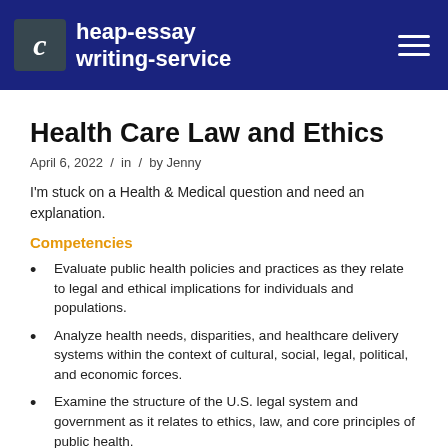cheap-essay writing-service
Health Care Law and Ethics
April 6, 2022 / in / by Jenny
I'm stuck on a Health & Medical question and need an explanation.
Competencies
Evaluate public health policies and practices as they relate to legal and ethical implications for individuals and populations.
Analyze health needs, disparities, and healthcare delivery systems within the context of cultural, social, legal, political, and economic forces.
Examine the structure of the U.S. legal system and government as it relates to ethics, law, and core principles of public health.